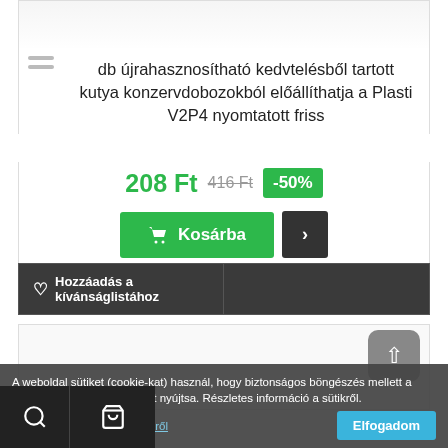[Figure (photo): Partial product image visible at top of card]
db újrahasznosítható kedvtelésből tartott kutya konzervdobozokból előállíthatja a Plasti V2P4 nyomtatott friss
208 Ft 416 Ft -50%
Kosárba
Hozzáadás a kívánságlistához
[Figure (photo): Second product card partially visible]
A weboldal sütiket (cookie-kat) használ, hogy biztonságos böngészés mellett a legjobb felhasználói élményt nyújtsa. Részletes információ a sütikről. Részletes információ a sütikről Elfogadom